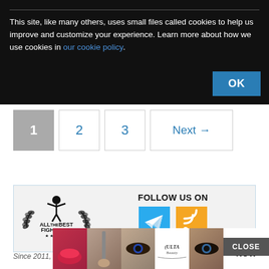This site, like many others, uses small files called cookies to help us improve and customize your experience. Learn more about how we use cookies in our cookie policy.
1 2 3 Next →
[Figure (logo): AllTheBestFights.com logo with laurel wreath and boxer figure]
FOLLOW US ON
[Figure (infographic): Telegram and RSS feed social media icons]
Since 2011, more than 23,000 fights rated and more than
[Figure (photo): Ulta beauty advertisement banner showing makeup and eyes]